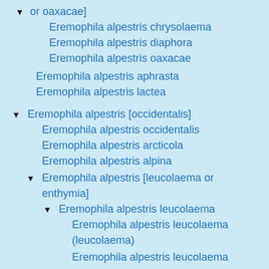[...] or oaxacae]
Eremophila alpestris chrysolaema
Eremophila alpestris diaphora
Eremophila alpestris oaxacae
Eremophila alpestris aphrasta
Eremophila alpestris lactea
Eremophila alpestris [occidentalis]
Eremophila alpestris occidentalis
Eremophila alpestris arcticola
Eremophila alpestris alpina
Eremophila alpestris [leucolaema or enthymia]
Eremophila alpestris leucolaema
Eremophila alpestris leucolaema (leucolaema)
Eremophila alpestris leucolaema (arenicola)
Eremophila alpestris enthymia